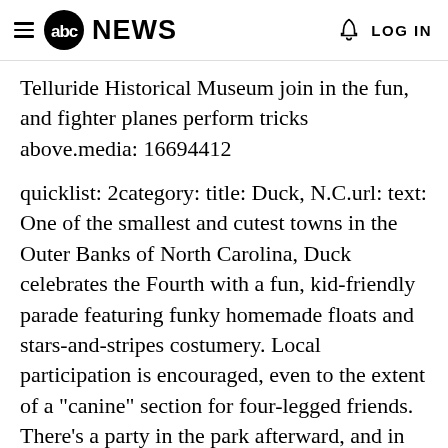abc NEWS   LOG IN
Telluride Historical Museum join in the fun, and fighter planes perform tricks above.media: 16694412
quicklist: 2category: title: Duck, N.C.url: text: One of the smallest and cutest towns in the Outer Banks of North Carolina, Duck celebrates the Fourth with a fun, kid-friendly parade featuring funky homemade floats and stars-and-stripes costumery. Local participation is encouraged, even to the extent of a "canine" section for four-legged friends. There's a party in the park afterward, and in the late afternoon, people make their way over to Nag's Head 15 minutes away to watch the